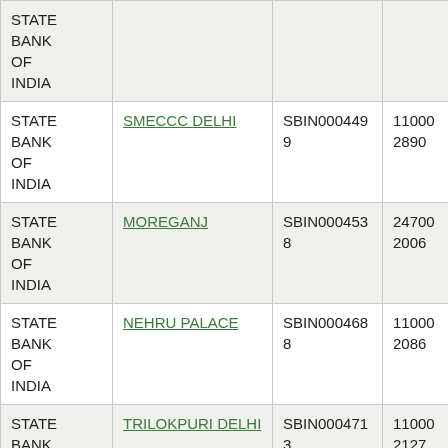| Bank Name | Branch | IFSC | MICR |
| --- | --- | --- | --- |
| STATE BANK OF INDIA |  |  |  |
| STATE BANK OF INDIA | SMECCC DELHI | SBIN0004499 | 110002890 |
| STATE BANK OF INDIA | MOREGANJ | SBIN0004538 | 247002006 |
| STATE BANK OF INDIA | NEHRU PALACE | SBIN0004688 | 110002086 |
| STATE BANK OF INDIA | TRILOKPURI DELHI | SBIN0004713 | 110002127 |